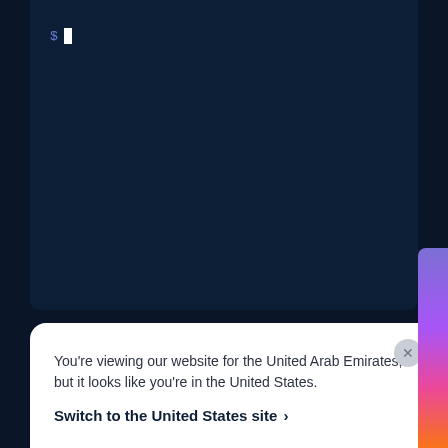[Figure (screenshot): Dark navy terminal/code editor area with a dollar sign prompt and white cursor block in the upper left]
You're viewing our website for the United Arab Emirates, but it looks like you're in the United States.
Switch to the United States site ›